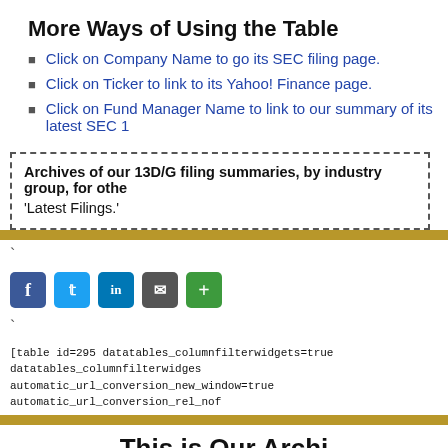More Ways of Using the Table
Click on Company Name to go its SEC filing page.
Click on Ticker to link to its Yahoo! Finance page.
Click on Fund Manager Name to link to our summary of its latest SEC 1
Archives of our 13D/G filing summaries, by industry group, for othe 'Latest Filings.'
[Figure (infographic): Social sharing icons: Facebook, Twitter, LinkedIn, Email, Share (Plus)]
[table id=295 datatables_columnfilterwidgets=true datatables_columnfilterwidgets= automatic_url_conversion_new_window=true automatic_url_conversion_rel_nof
This is Our Archi
Please Register Below To Get Free
For over 300 other Leac